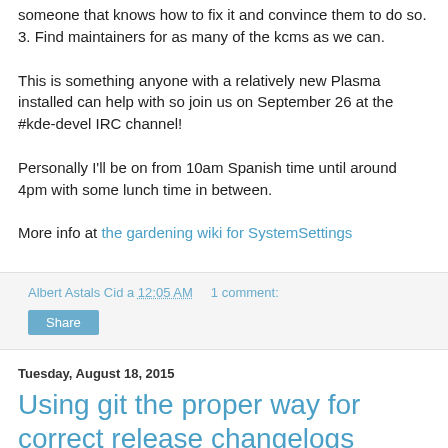someone that knows how to fix it and convince them to do so.
3. Find maintainers for as many of the kcms as we can.
This is something anyone with a relatively new Plasma installed can help with so join us on September 26 at the #kde-devel IRC channel!
Personally I'll be on from 10am Spanish time until around 4pm with some lunch time in between.
More info at the gardening wiki for SystemSettings
Albert Astals Cid a 12:05 AM    1 comment:
Share
Tuesday, August 18, 2015
Using git the proper way for correct release changelogs